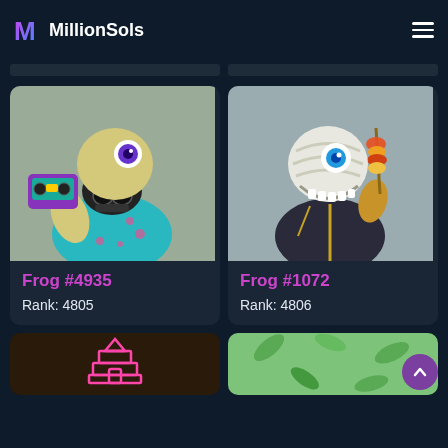MillionSols
[Figure (illustration): Frog NFT #4935 - frog character wearing a teal flamingo shirt and gas mask, holding a purple boombox. Gray background.]
Frog #4935
Rank: 4805
[Figure (illustration): Frog NFT #1072 - frog character in dark suit with gold trim, holding a skewer with food, blue eye. Gray background.]
Frog #1072
Rank: 4806
[Figure (illustration): Bottom left card - dark brown background with neon pink pagoda/tower icon]
[Figure (illustration): Bottom right card - light green background with leaf/plant imagery]